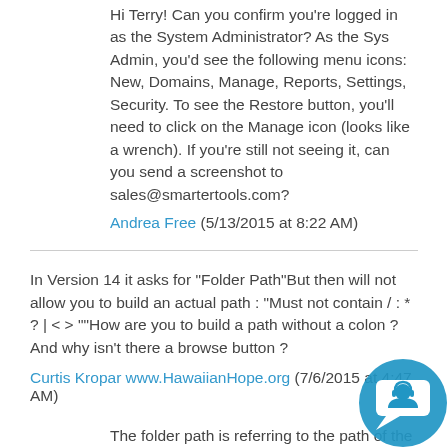Hi Terry! Can you confirm you're logged in as the System Administrator? As the Sys Admin, you'd see the following menu icons: New, Domains, Manage, Reports, Settings, Security. To see the Restore button, you'll need to click on the Manage icon (looks like a wrench). If you're still not seeing it, can you send a screenshot to sales@smartertools.com?
Andrea Free (5/13/2015 at 8:22 AM)
In Version 14 it asks for "Folder Path"But then will not allow you to build an actual path : "Must not contain / : * ? | < > ""How are you to build a path without a colon ?
And why isn't there a browse button ?
Curtis Kropar www.HawaiianHope.org (7/6/2015 at 4:47 AM)
The folder path is referring to the path of the folder within the SmarterMail interface, not the system files. Because of this, a colon isn't necessary when writing out the path. For example, if you have a folder nested within your inbox, the
[Figure (illustration): Blue circular chat/support icon with a headset person figure inside, positioned at bottom-right corner]